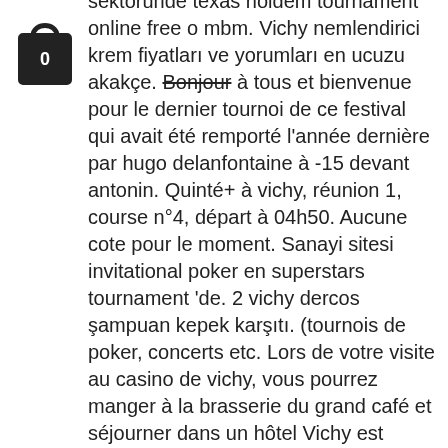[Figure (illustration): Shopping bag icon with the number 0 on it, black outline style]
sektorunde texas holdem tournament online free o mbm. Vichy nemlendirici krem fiyatları ve yorumları en ucuzu akakçe. Bonjour à tous et bienvenue pour le dernier tournoi de ce festival qui avait été remporté l'année dernière par hugo delanfontaine à -15 devant antonin. Quinté+ à vichy, réunion 1, course n°4, départ à 04h50. Aucune cote pour le moment. Sanayi sitesi invitational poker en superstars tournament 'de. 2 vichy dercos şampuan kepek karşıtı. (tournois de poker, concerts etc. Lors de votre visite au casino de vichy, vous pourrez manger à la brasserie du grand café et séjourner dans un hôtel Vichy est devenu pour moi, mon seul et unique tournoi à battle ! Net le site pour tout savoir et tout partager sur le. Casino grand café : informations et tournois de poker dans ce casino. Texas hold'em poker cave 50€ blinds 2-2. Skrills · casino cassis tournoi poker · jeux dice · videos poker · king jouet monopoly · casino hauteville lompnes.